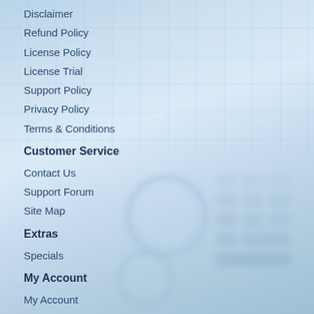Disclaimer
Refund Policy
License Policy
License Trial
Support Policy
Privacy Policy
Terms & Conditions
Customer Service
Contact Us
Support Forum
Site Map
Extras
Specials
My Account
My Account
Order History
Wish List
Newsletter